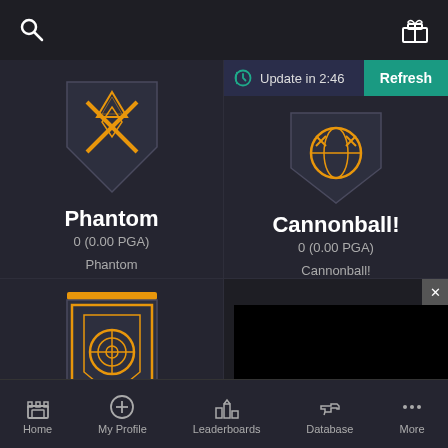[Figure (screenshot): Mobile game app UI showing top navigation bar with search icon and gift icon]
[Figure (screenshot): Update timer showing 'Update in 2:46' and Refresh button in teal]
[Figure (illustration): Phantom weapon skin badge — orange X geometric design on dark shield]
Phantom
0 (0.00 PGA)
Phantom
[Figure (illustration): Cannonball weapon skin badge — orange circular/globe design on dark shield]
Cannonball!
0 (0.00 PGA)
Cannonball!
[Figure (illustration): Third weapon skin badge — orange target/scope design on dark pennant shield]
[Figure (screenshot): Black advertisement panel with X close button]
Home  My Profile  Leaderboards  Database  More